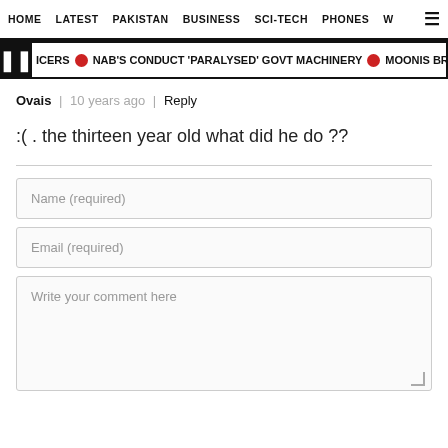HOME | LATEST | PAKISTAN | BUSINESS | SCI-TECH | PHONES | W
ICERS  NAB'S CONDUCT 'PARALYSED' GOVT MACHINERY  MOONIS BRUSHES
Ovais | 10 years ago | Reply
:( . the thirteen year old what did he do ??
Name (required)
Email (required)
Write your comment here